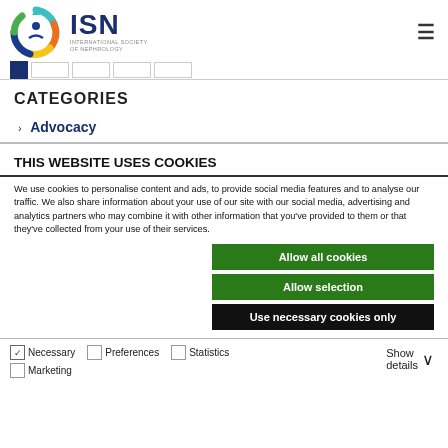[Figure (logo): ISN International Society of Nephrology logo with colorful circular arrow icon]
CATEGORIES
› Advocacy
THIS WEBSITE USES COOKIES
We use cookies to personalise content and ads, to provide social media features and to analyse our traffic. We also share information about your use of our site with our social media, advertising and analytics partners who may combine it with other information that you've provided to them or that they've collected from your use of their services.
Allow all cookies
Allow selection
Use necessary cookies only
Necessary  Preferences  Statistics  Marketing  Show details